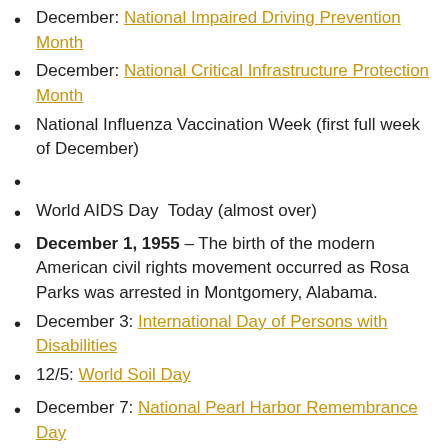December: National Impaired Driving Prevention Month
December: National Critical Infrastructure Protection Month
National Influenza Vaccination Week (first full week of December)
World AIDS Day  Today (almost over)
December 1, 1955 – The birth of the modern American civil rights movement occurred as Rosa Parks was arrested in Montgomery, Alabama.
December 3: International Day of Persons with Disabilities
12/5: World Soil Day
December 7: National Pearl Harbor Remembrance Day